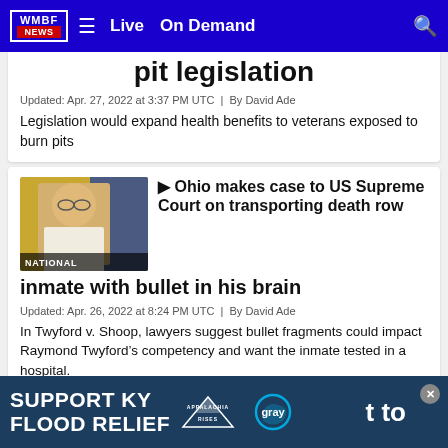WMBF NEWS | Live | On Demand
pit legislation
Updated: Apr. 27, 2022 at 3:37 PM UTC  |  By David Ade
Legislation would expand health benefits to veterans exposed to burn pits
[Figure (photo): Mugshot photo of a man with glasses labeled NATIONAL]
Ohio makes case to US Supreme Court on transporting death row inmate with bullet in his brain
Updated: Apr. 26, 2022 at 8:24 PM UTC  |  By David Ade
In Twyford v. Shoop, lawyers suggest bullet fragments could impact Raymond Twyford’s competency and want the inmate tested in a hospital.
[Figure (infographic): SUPPORT KY FLOOD RELIEF advertisement banner with Appalachia Rises and Gray logos]
to